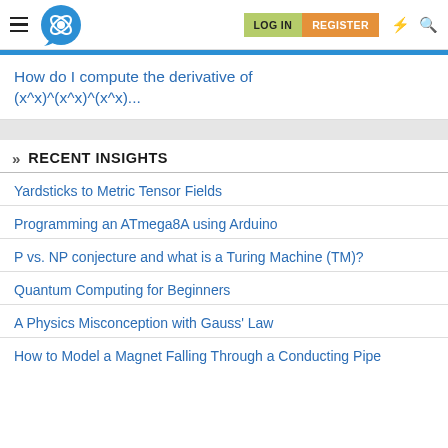Physics Forums — LOG IN | REGISTER navigation bar
How do I compute the derivative of (x^x)^(x^x)^(x^x)...
» RECENT INSIGHTS
Yardsticks to Metric Tensor Fields
Programming an ATmega8A using Arduino
P vs. NP conjecture and what is a Turing Machine (TM)?
Quantum Computing for Beginners
A Physics Misconception with Gauss' Law
How to Model a Magnet Falling Through a Conducting Pipe